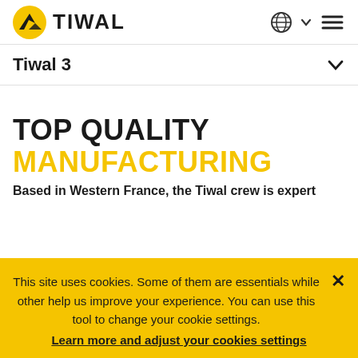[Figure (logo): Tiwal brand logo: yellow circle with black stylized sail/wave icon, followed by bold uppercase TIWAL text]
Tiwal 3
TOP QUALITY MANUFACTURING
Based in Western France, the Tiwal crew is expert...
This site uses cookies. Some of them are essentials while other help us improve your experience. You can use this tool to change your cookie settings. Learn more and adjust your cookies settings